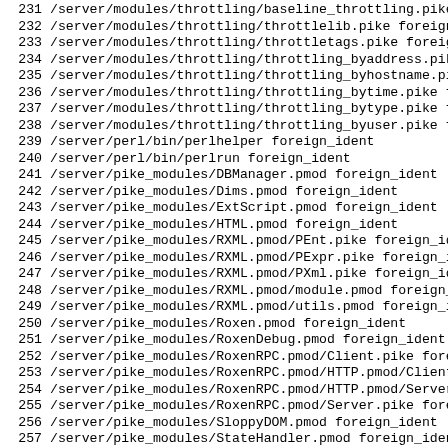231  /server/modules/throttling/baseline_throttling.pike
232  /server/modules/throttling/throttlelib.pike foreign_
233  /server/modules/throttling/throttletags.pike foreig
234  /server/modules/throttling/throttling_byaddress.pik
235  /server/modules/throttling/throttling_byhostname.pi
236  /server/modules/throttling/throttling_bytime.pike f
237  /server/modules/throttling/throttling_bytype.pike f
238  /server/modules/throttling/throttling_byuser.pike f
239  /server/perl/bin/perlhelper foreign_ident
240  /server/perl/bin/perlrun foreign_ident
241  /server/pike_modules/DBManager.pmod foreign_ident
242  /server/pike_modules/Dims.pmod foreign_ident
243  /server/pike_modules/ExtScript.pmod foreign_ident
244  /server/pike_modules/HTML.pmod foreign_ident
245  /server/pike_modules/RXML.pmod/PEnt.pike foreign_id
246  /server/pike_modules/RXML.pmod/PExpr.pike foreign_i
247  /server/pike_modules/RXML.pmod/PXml.pike foreign_id
248  /server/pike_modules/RXML.pmod/module.pmod foreign_
249  /server/pike_modules/RXML.pmod/utils.pmod foreign_i
250  /server/pike_modules/Roxen.pmod foreign_ident
251  /server/pike_modules/RoxenDebug.pmod foreign_ident
252  /server/pike_modules/RoxenRPC.pmod/Client.pike fore
253  /server/pike_modules/RoxenRPC.pmod/HTTP.pmod/Client
254  /server/pike_modules/RoxenRPC.pmod/HTTP.pmod/Server
255  /server/pike_modules/RoxenRPC.pmod/Server.pike fore
256  /server/pike_modules/SloppyDOM.pmod foreign_ident
257  /server/pike_modules/StateHandler.pmod foreign_iden